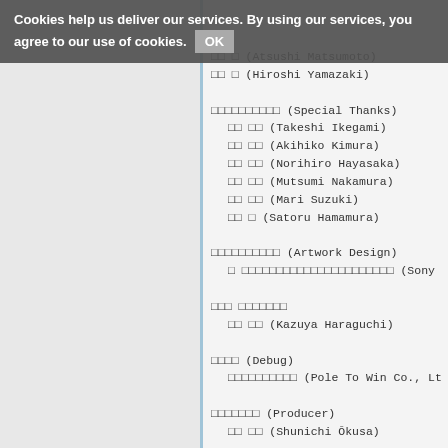Cookies help us deliver our services. By using our services, you agree to our use of cookies. OK
□□ □ (Atsushi Matsumoto)
□□ □ (Hiroshi Yamazaki)
□□□□□□□□□□ (Special Thanks)
□□ □□ (Takeshi Ikegami)
□□ □□ (Akihiko Kimura)
□□ □□ (Norihiro Hayasaka)
□□ □□ (Mutsumi Nakamura)
□□ □□ (Mari Suzuki)
□□ □ (Satoru Hamamura)
□□□□□□□□□□ (Artwork Design)
□ □□□□□□□□□□□□□□□□□□□□□□ (Sony
□□□ □□□□□□□
□□ □□ (Kazuya Haraguchi)
□□□□ (Debug)
□□□□□□□□□□ (Pole To Win Co., Lt
□□□□□□□ (Producer)
□□ □□ (Shunichi Ōkusa)